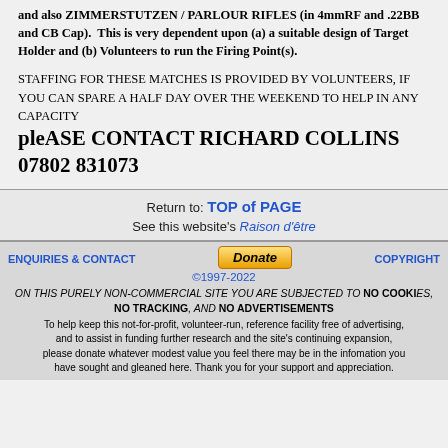and also ZIMMERSTUTZEN / PARLOUR RIFLES (in 4mmRF and .22BB and CB Cap).  This is very dependent upon (a) a suitable design of Target Holder and (b) Volunteers to run the Firing Point(s).
STAFFING FOR THESE MATCHES IS PROVIDED BY VOLUNTEERS, IF YOU CAN SPARE A HALF DAY OVER THE WEEKEND TO HELP IN ANY CAPACITY pleASE CONTACT RICHARD COLLINS  07802 831073
Return to: TOP of PAGE
See this website's Raison d'être
ENQUIRIES & CONTACT
Donate
COPYRIGHT
©1997-2022
ON THIS PURELY NON-COMMERCIAL SITE YOU ARE SUBJECTED TO NO COOKIES, NO TRACKING, AND NO ADVERTISEMENTS
To help keep this not-for-profit, volunteer-run, reference facility free of advertising, and to assist in funding further research and the site's continuing expansion, please donate whatever modest value you feel there may be in the infomation you have sought and gleaned here. Thank you for your support and appreciation.